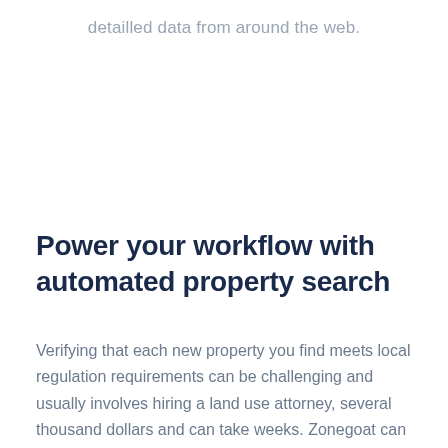detailled data from around the web.
Power your workflow with automated property search
Verifying that each new property you find meets local regulation requirements can be challenging and usually involves hiring a land use attorney, several thousand dollars and can take weeks. Zonegoat can drastically reduce the time your team spends filtering